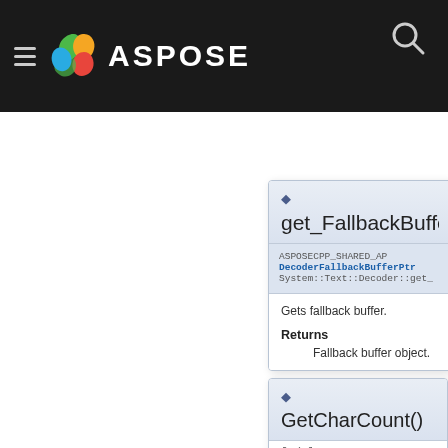ASPOSE
get_FallbackBuffer
ASPOSECPP_SHARED_API DecoderFallbackBufferPtr System::Text::Decoder::get_
Gets fallback buffer.
Returns
Fallback buffer object.
GetCharCount()
[1/3]